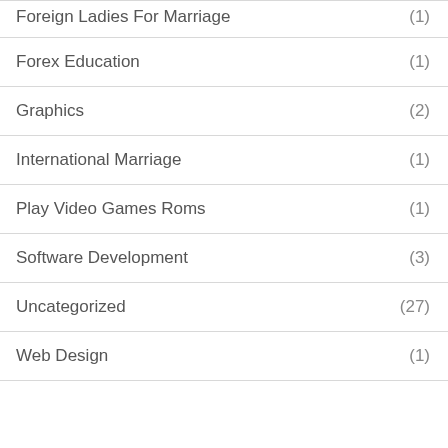Foreign Ladies For Marriage (1)
Forex Education (1)
Graphics (2)
International Marriage (1)
Play Video Games Roms (1)
Software Development (3)
Uncategorized (27)
Web Design (1)